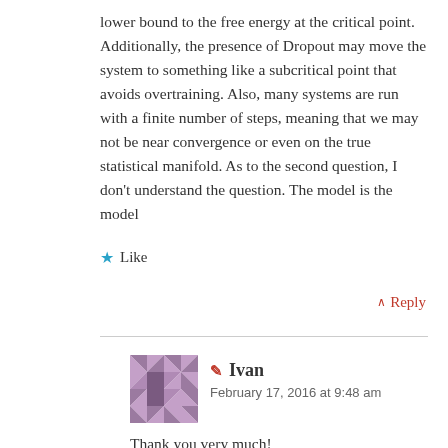lower bound to the free energy at the critical point. Additionally, the presence of Dropout may move the system to something like a subcritical point that avoids overtraining. Also, many systems are run with a finite number of steps, meaning that we may not be near convergence or even on the true statistical manifold. As to the second question, I don’t understand the question. The model is the model
★ Like
∧ Reply
✏ Ivan
February 17, 2016 at 9:48 am
Thank you very much!